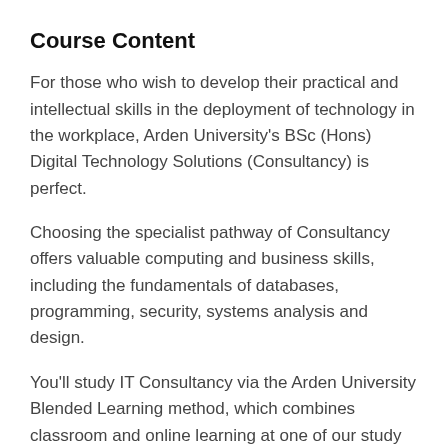Course Content
For those who wish to develop their practical and intellectual skills in the deployment of technology in the workplace, Arden University's BSc (Hons) Digital Technology Solutions (Consultancy) is perfect.
Choosing the specialist pathway of Consultancy offers valuable computing and business skills, including the fundamentals of databases, programming, security, systems analysis and design.
You'll study IT Consultancy via the Arden University Blended Learning method, which combines classroom and online learning at one of our study centres. Your studies will be fully supported by tutors and our Arden Student Support Coordinators so you will have all the tools you need to succeed.